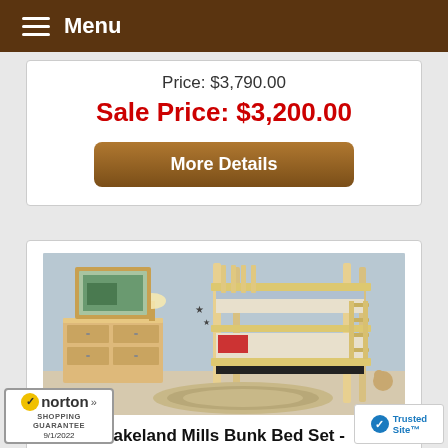Menu
Price: $3,790.00
Sale Price: $3,200.00
More Details
[Figure (photo): Bunk bed set in a bedroom with dresser, framed art, lamp, and oval rug. Natural wood finish bunk bed with ladder.]
Lakeland Mills Bunk Bed Set -
[Figure (logo): Norton Shopping Guarantee badge with yellow checkmark, date 9/1/2022]
[Figure (logo): TrustedSite badge with blue checkmark]